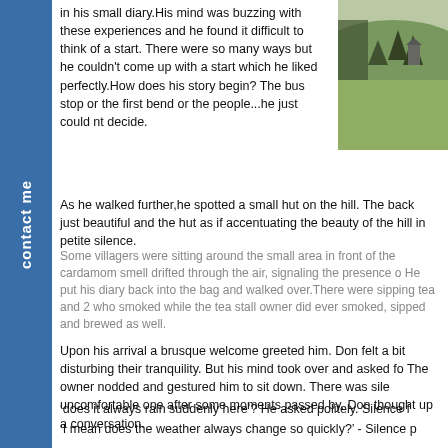[Figure (photo): Outdoor landscape photo showing green hills and trees with a building or structure visible in the background, top-right corner of page]
in his small diary.His mind was buzzing with these experiences and he found it difficult to think of a start. There were so many ways but he couldn't come up with a start which he liked perfectly.How does his story begin? The bus stop or the first bend or the people...he just could nt decide.
As he walked further,he spotted a small hut on the hill. The back just beautiful and the hut as if accentuating the beauty of the hill in petite silence.
Some villagers were sitting around the small area in front of the cardamom smell drifted through the air, signaling the presence o He put his diary back into the bag and walked over.There were sipping tea and 2 who smoked while the tea stall owner did ever smoked, sipped and brewed as well.
Upon his arrival a brusque welcome greeted him. Don felt a bit disturbing their tranquility. But his mind took over and asked fo The owner nodded and gestured him to sit down. There was sile uncomfortable one after some moments passed by. Don thought up a conversation.
‘does it always rain suddenly here’? He asked politely. Silence f
‘I mean does the weather always change so quickly?’ - Silence p